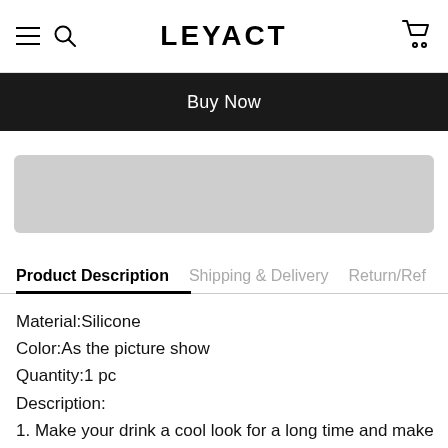LEYACT
Buy Now
[Figure (other): Gray placeholder block, likely an advertisement or image banner]
Product Description | Shipping & Delivery | Return/Ref
Material:Silicone
Color:As the picture show
Quantity:1 pc
Description:
1. Make your drink a cool look for a long time and make it cool – perfect for parties, bars, restaurants, summer, festivals, holiday gifts. Whisky for long-lasting ice,